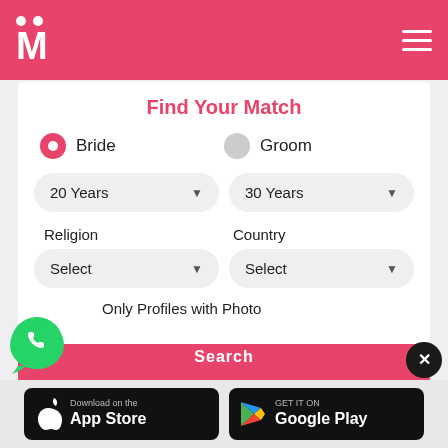M (Matrimony app logo and hamburger menu)
Find Your Match
Bride (selected) / Groom (unselected) radio buttons
20 Years dropdown / 30 Years dropdown
Religion label / Country label
Select (Religion) / Select (Country)
Only Profiles with Photo
Search button (partially visible)
[Figure (logo): WhatsApp green logo bubble in bottom left]
[Figure (screenshot): Download on the App Store button (Apple)]
[Figure (screenshot): GET IT ON Google Play button]
[Figure (logo): Close (X) button circle in bottom right]